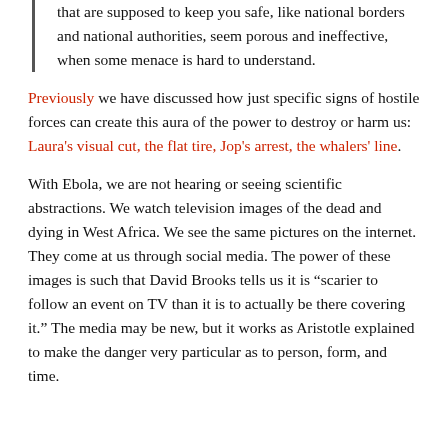that are supposed to keep you safe, like national borders and national authorities, seem porous and ineffective, when some menace is hard to understand.
Previously we have discussed how just specific signs of hostile forces can create this aura of the power to destroy or harm us: Laura's visual cut, the flat tire, Jop's arrest, the whalers' line.
With Ebola, we are not hearing or seeing scientific abstractions. We watch television images of the dead and dying in West Africa. We see the same pictures on the internet. They come at us through social media. The power of these images is such that David Brooks tells us it is "scarier to follow an event on TV than it is to actually be there covering it." The media may be new, but it works as Aristotle explained to make the danger very particular as to person, form, and time.